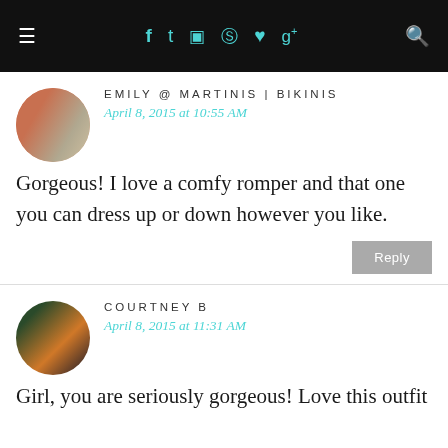≡ f t ☷ ℗ ♥ g+ 🔍
EMILY @ MARTINIS | BIKINIS
April 8, 2015 at 10:55 AM
Gorgeous! I love a comfy romper and that one you can dress up or down however you like.
COURTNEY B
April 8, 2015 at 11:31 AM
Girl, you are seriously gorgeous! Love this outfit